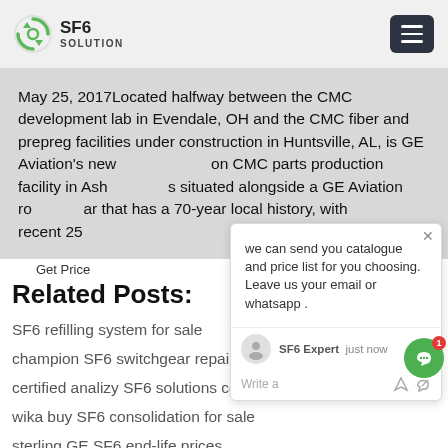SF6 SOLUTION
May 25, 2017Located halfway between the CMC development lab in Evendale, OH and the CMC fiber and prepreg facilities under construction in Huntsville, AL, is GE Aviation's new [CMC parts production facility in Ash...] situated alongside a GE Aviation ro[tating] [f]a[cility] that has a 70-year local history, with[...] recent 25
Get Price
Related Posts:
SF6 refilling system for sale
champion SF6 switchgear repair cart factory
certified analizy SF6 solutions cost
wika buy SF6 consolidation for sale
sterling GE SF6 end-life prices